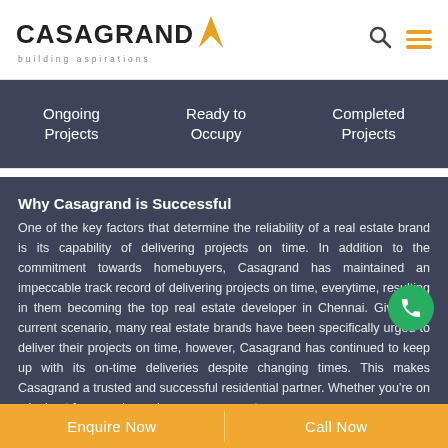[Figure (logo): Casagrand logo with orange arrow and tagline 'building aspirations']
Ongoing Projects
Ready to Occupy
Completed Projects
Why Casagrand is Successful
One of the key factors that determine the reliability of a real estate brand is its capability of delivering projects on time. In addition to the commitment towards homebuyers, Casagrand has maintained an impeccable track record of delivering projects on time, everytime, resulting in them becoming the top real estate developer in Chennai. Given the current scenario, many real estate brands have been specifically urged to deliver their projects on time, however, Casagrand has continued to keep up with its on-time deliveries despite changing times. This makes Casagrand a trusted and successful residential partner. Whether you're on a lookout for your dream home or your next
Enquire Now
Call Now